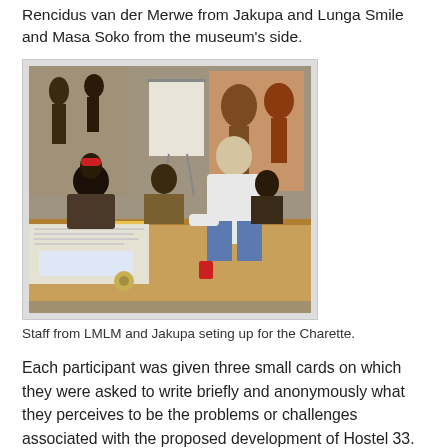Rencidus van der Merwe from Jakupa and Lunga Smile and Masa Soko from the museum's side.
[Figure (photo): Photo of staff from LMLM and Jakupa setting up for the Charette. Several people are seated and standing around a wooden table covered with papers and documents. Colorful African artwork is visible on the walls in the background. One man in a white shirt is leaning over the table.]
Staff from LMLM and Jakupa seting up for the Charette.
Each participant was given three small cards on which they were asked to write briefly and anonymously what they perceives to be the problems or challenges associated with the proposed development of Hostel 33. Masa and Lunga assisted some of the participants with explanation, translation and writing their ideas, so that all could make their contributions to the discussion. These were collected